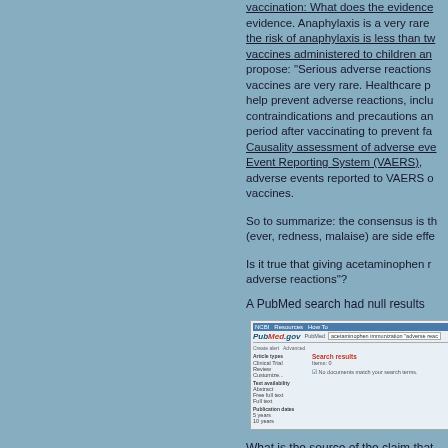vaccination: What does the evidence show? evidence. Anaphylaxis is a very rare event: the risk of anaphylaxis is less than two per million vaccines administered to children and... propose: "Serious adverse reactions to vaccines are very rare. Healthcare providers can help prevent adverse reactions, including reviewing contraindications and precautions and observing the period after vaccinating to prevent fainting..." Causality assessment of adverse events... Vaccine Adverse Event Reporting System (VAERS), Reports of adverse events reported to VAERS on vaccines.
So to summarize: the consensus is that... (ever, redness, malaise) are side effe...
Is it true that giving acetaminophen reduces adverse reactions"?
A PubMed search had null results
[Figure (screenshot): Screenshot of PubMed search results page showing 'Search results Items: 0' and 'No documents match your search terms' for a search related to acetaminophen immunization and adverse reactions.]
What is the source of the claim that...